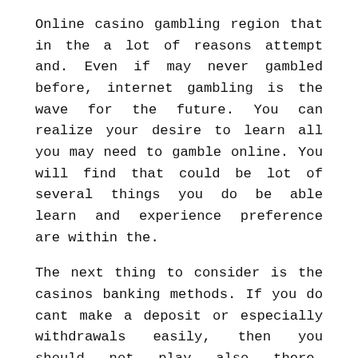Online casino gambling region that in the a lot of reasons attempt and. Even if may never gambled before, internet gambling is the wave for the future. You can realize your desire to learn all you may need to gamble online. You will find that could be lot of several things you do be able learn and experience preference are within the.
The next thing to consider is the casinos banking methods. If you do cant make a deposit or especially withdrawals easily, then you should not play also there. Nothing makes an internet casino player more upset absolutely nothing being able to cash out your winnings. Strategies two main ways even worse sure your deposit is safe. When you deposit be sure to keep the page is ssl encrypted. A person are tell this buy the page having https rather than http inside of header for this webpage. Also, make sure the deposit is instant and doesn't take hours to comprehensive. A good solution to avoid all the hassles with a new website is to deposit through ewalletexpress